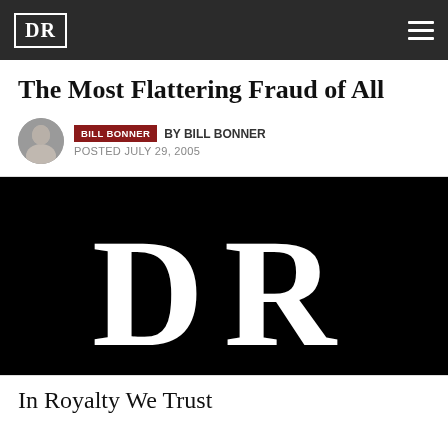DR
The Most Flattering Fraud of All
BILL BONNER BY BILL BONNER POSTED JULY 29, 2005
[Figure (logo): Large white DR letters on black background — the Daily Reckoning logo]
In Royalty We Trust